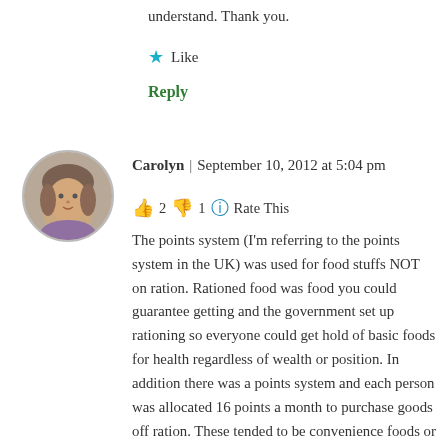understand. Thank you.
★ Like
Reply
[Figure (photo): Circular avatar photo of a woman named Carolyn]
Carolyn | September 10, 2012 at 5:04 pm
👍 2 👎 1 ℹ Rate This
The points system (I'm referring to the points system in the UK) was used for food stuffs NOT on ration. Rationed food was food you could guarantee getting and the government set up rationing so everyone could get hold of basic foods for health regardless of wealth or position. In addition there was a points system and each person was allocated 16 points a month to purchase goods off ration. These tended to be convenience foods or foods that had to be imported so they were not always available due to supply ship bombing but nevertheless you